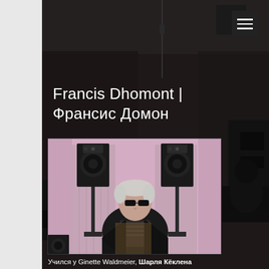[Figure (photo): Dark recording studio background with mixing equipment, microphones, and a person in a hood visible on the right side]
Francis Dhomont | Франсис Домон
[Figure (photo): Black and white / purple-tinted photo of an elderly man (Francis Dhomont) seated between two studio monitor speakers on stands]
Учился у Ginette Waldmeier, Шарля Кёклена